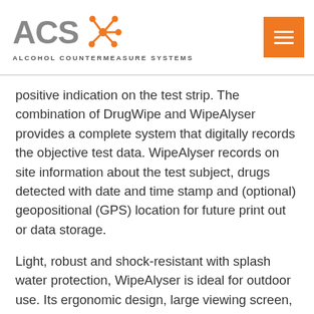[Figure (logo): ACS (Alcohol Countermeasure Systems) logo with orange star/molecule icon and text 'ALCOHOL COUNTERMEASURE SYSTEMS' below, plus orange hamburger menu button]
positive indication on the test strip. The combination of DrugWipe and WipeAlyser provides a complete system that digitally records the objective test data. WipeAlyser records on site information about the test subject, drugs detected with date and time stamp and (optional) geopositional (GPS) location for future print out or data storage.
Light, robust and shock-resistant with splash water protection, WipeAlyser is ideal for outdoor use. Its ergonomic design, large viewing screen, intuitive software operation and rapid test analysis ensures that WipeAlyser is easy to use and well suited for mobile